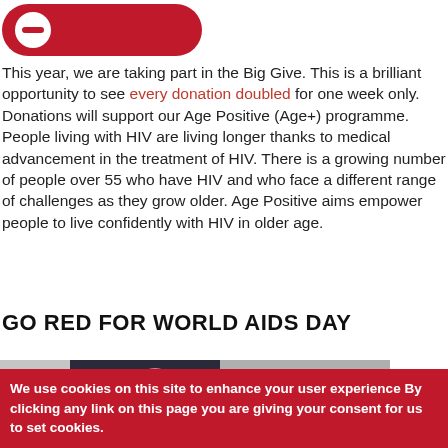[Figure (logo): Donate button logo — red rounded rectangle with white minus/dash icon on left and red 'Donate' text]
This year, we are taking part in the Big Give. This is a brilliant opportunity to see every donation doubled for one week only.
Donations will support our Age Positive (Age+) programme. People living with HIV are living longer thanks to medical advancement in the treatment of HIV. There is a growing number of people over 55 who have HIV and who face a different range of challenges as they grow older. Age Positive aims empower people to live confidently with HIV in older age.
GO RED FOR WORLD AIDS DAY
[Figure (photo): Partial photo showing a person holding a pink flower/ribbon, with a dark jacket visible]
World
We use cookies on this site to enhance your user experience By clicking any link on this page you are giving your consent for us to set cookies.